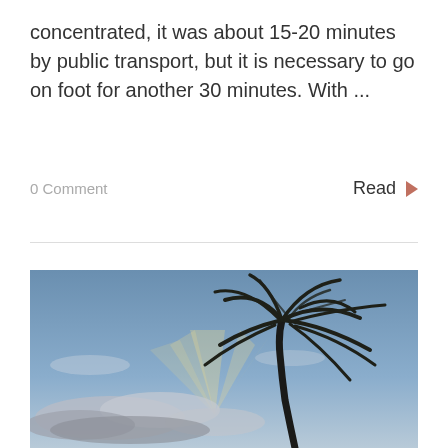concentrated, it was about 15-20 minutes by public transport, but it is necessary to go on foot for another 30 minutes. With ...
0 Comment
Read ▶
[Figure (photo): A palm tree silhouetted against a blue sky with clouds and sunrays, taken at sunset or sunrise near a beach.]